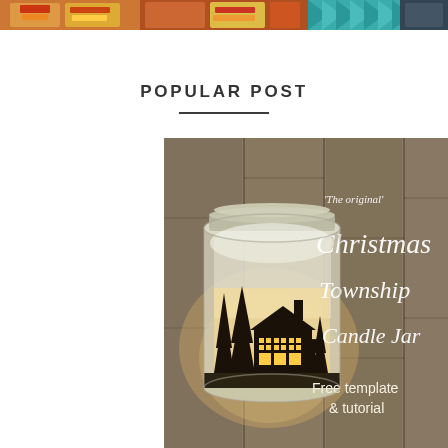[Figure (photo): Top banner strip showing colorful food/snack product thumbnails and a teal chevron patterned background, appears to be a blog sidebar advertisement or collage of posts.]
POPULAR POST
[Figure (photo): A glowing Christmas Township Candle Jar craft project — a frosted mason jar with silhouettes of pine trees and a house cut from black paper wrapping the jar, lit from inside with candlelight, set against a rustic wooden plank background. Text overlay reads: 'The original' Christmas Township Candle Jar — Free template & tutorial.]